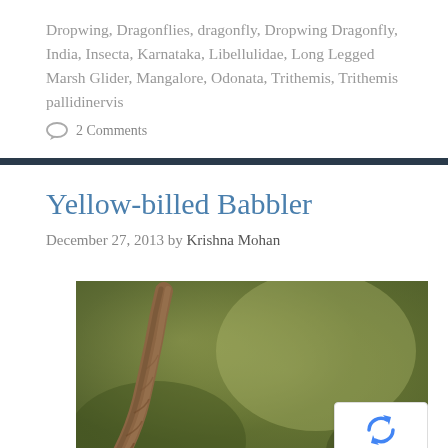Dropwing, Dragonflies, dragonfly, Dropwing Dragonfly, India, Insecta, Karnataka, Libellulidae, Long Legged Marsh Glider, Mangalore, Odonata, Trithemis, Trithemis pallidinervis
💬 2 Comments
Yellow-billed Babbler
December 27, 2013 by Krishna Mohan
[Figure (photo): A close-up nature photo showing a brown woody branch/twig against a blurred olive-green background, presumably with a Yellow-billed Babbler bird (cropped/partially visible at bottom)]